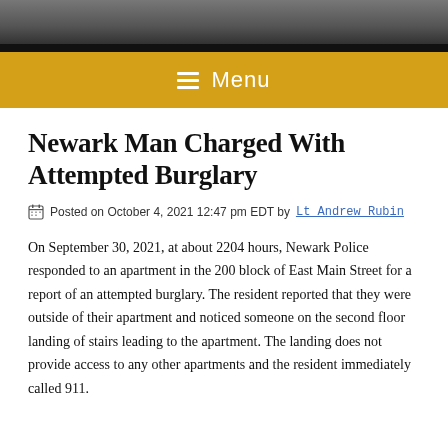[Figure (photo): Partial photo strip at top of page showing dark winter scene]
≡ Menu
Newark Man Charged With Attempted Burglary
Posted on October 4, 2021 12:47 pm EDT by Lt Andrew Rubin
On September 30, 2021, at about 2204 hours, Newark Police responded to an apartment in the 200 block of East Main Street for a report of an attempted burglary. The resident reported that they were outside of their apartment and noticed someone on the second floor landing of stairs leading to the apartment. The landing does not provide access to any other apartments and the resident immediately called 911.